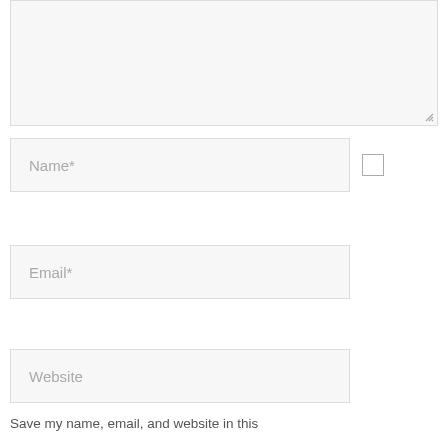[Figure (screenshot): A textarea form field with a light gray background and resize handle at bottom-right corner]
Name*
Email*
Website
Save my name, email, and website in this